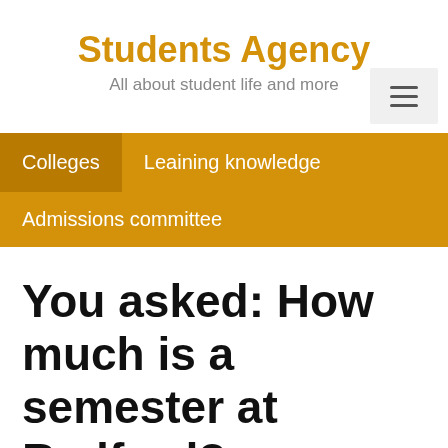Students Agency
All about student life and more
Colleges
Leaining knowledge
Admissions committee
You asked: How much is a semester at Radford?